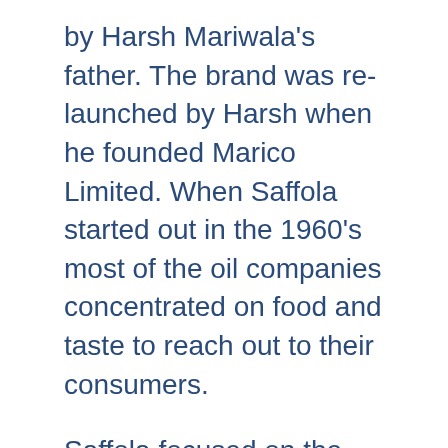by Harsh Mariwala's father. The brand was re-launched by Harsh when he founded Marico Limited. When Saffola started out in the 1960's most of the oil companies concentrated on food and taste to reach out to their consumers.
Saffola focused on the risks of heart disease and ways to maintain a healthy heart which set them apart from others in this category. BOIL was split between the four Mariwala children and Harsh founded Marico and got hold of the consumer division. BOIL retained the brand rights to Saffola till 2000 until